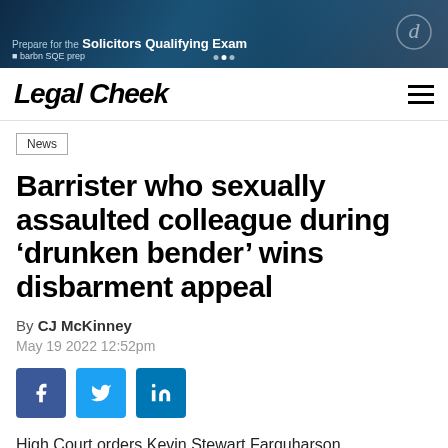[Figure (photo): Advertisement banner for Solicitors Qualifying Exam with people working on laptops in a blue-toned background]
Legal Cheek
News
Barrister who sexually assaulted colleague during ‘drunken bender’ wins disbarment appeal
By CJ McKinney
May 19 2022 12:52pm
[Figure (infographic): Social media share buttons: Facebook, Twitter, LinkedIn]
High Court orders Kevin Stewart Farquharson